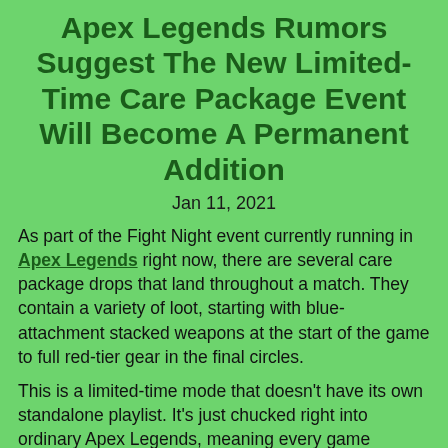Apex Legends Rumors Suggest The New Limited-Time Care Package Event Will Become A Permanent Addition
Jan 11, 2021
As part of the Fight Night event currently running in Apex Legends right now, there are several care package drops that land throughout a match. They contain a variety of loot, starting with blue-attachment stacked weapons at the start of the game to full red-tier gear in the final circles.
This is a limited-time mode that doesn't have its own standalone playlist. It's just chucked right into ordinary Apex Legends, meaning every game features these care packages. In the past, these limited-time modes have been a method for Respawn to test future content.